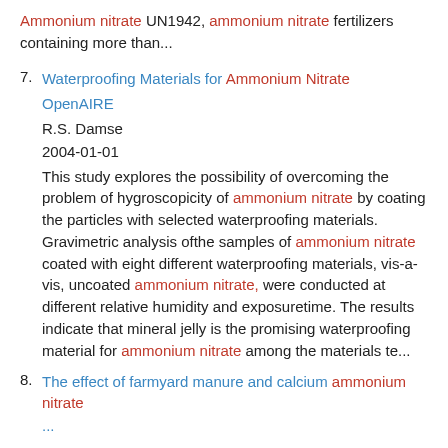Ammonium nitrate UN1942, ammonium nitrate fertilizers containing more than...
7. Waterproofing Materials for Ammonium Nitrate
OpenAIRE
R.S. Damse
2004-01-01
This study explores the possibility of overcoming the problem of hygroscopicity of ammonium nitrate by coating the particles with selected waterproofing materials. Gravimetric analysis ofthe samples of ammonium nitrate coated with eight different waterproofing materials, vis-a-vis, uncoated ammonium nitrate, were conducted at different relative humidity and exposuretime. The results indicate that mineral jelly is the promising waterproofing material for ammonium nitrate among the materials te...
8. The effect of farmyard manure and calcium ammonium nitrate
...